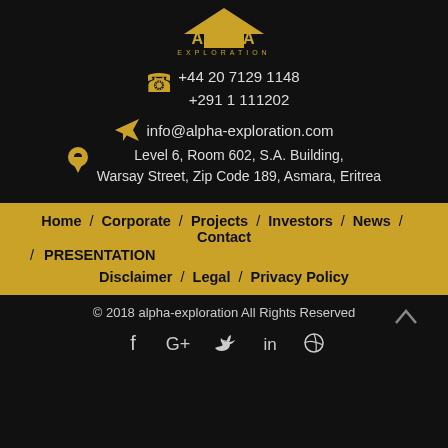[Figure (logo): Alpha Exploration logo with gold mountain/arrow shape and ALPHA EXPLORATION text]
+44 20 7129 1148
+291 1 111202
info@alpha-exploration.com
Level 6, Room 602, S.A. Building, Warsay Street, Zip Code 189, Asmara, Eritrea
Home / Corporate / Projects / Investors / News / Contact / PRESENTATION
Disclaimer / Legal / Privacy Policy
© 2018 alpha-exploration All Rights Reserved
[Figure (other): Social media icons: Facebook, Google+, Twitter, LinkedIn, Dribbble]